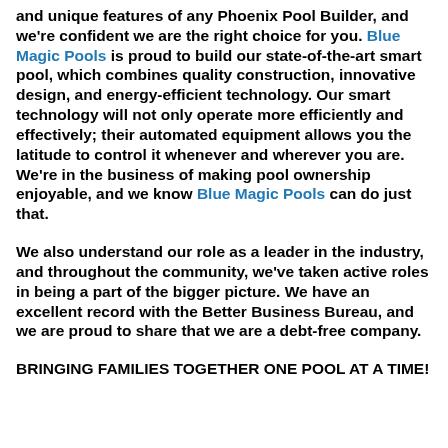and unique features of any Phoenix Pool Builder, and we're confident we are the right choice for you. Blue Magic Pools is proud to build our state-of-the-art smart pool, which combines quality construction, innovative design, and energy-efficient technology. Our smart technology will not only operate more efficiently and effectively; their automated equipment allows you the latitude to control it whenever and wherever you are. We're in the business of making pool ownership enjoyable, and we know Blue Magic Pools can do just that.
We also understand our role as a leader in the industry, and throughout the community, we've taken active roles in being a part of the bigger picture. We have an excellent record with the Better Business Bureau, and we are proud to share that we are a debt-free company.
BRINGING FAMILIES TOGETHER ONE POOL AT A TIME!